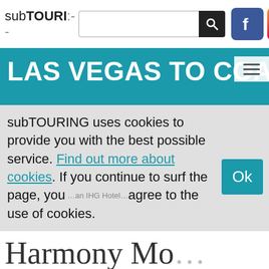subTOURING — search bar with Facebook and Instagram icons
LAS VEGAS TO COACHE…
subTOURING uses cookies to provide you with the best possible service. Find out more about cookies. If you continue to surf the page, you agree to the use of cookies.
Ok
…an IHG Hotel…
Harmony Mo…
Where U2 stay…